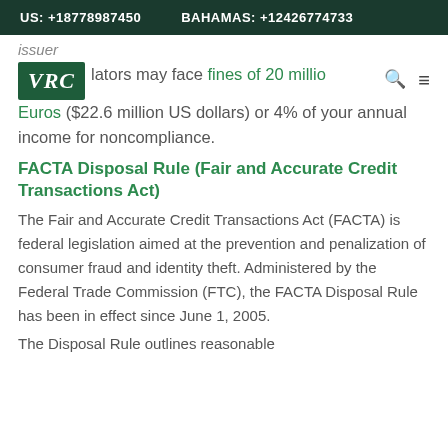US: +18778987450   BAHAMAS: +12426774733
issuer
violators may face fines of 20 million Euros ($22.6 million US dollars) or 4% of your annual income for noncompliance.
FACTA Disposal Rule (Fair and Accurate Credit Transactions Act)
The Fair and Accurate Credit Transactions Act (FACTA) is federal legislation aimed at the prevention and penalization of consumer fraud and identity theft. Administered by the Federal Trade Commission (FTC), the FACTA Disposal Rule has been in effect since June 1, 2005.
The Disposal Rule outlines reasonable